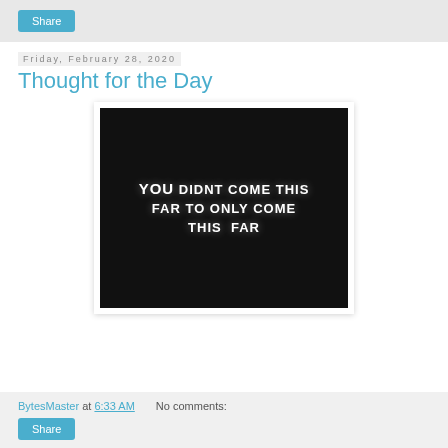Share
Friday, February 28, 2020
Thought for the Day
[Figure (photo): Black background image with white bold text reading: YOU DIDNT COME THIS FAR TO ONLY COME THIS FAR]
BytesMaster at 6:33 AM   No comments:   Share